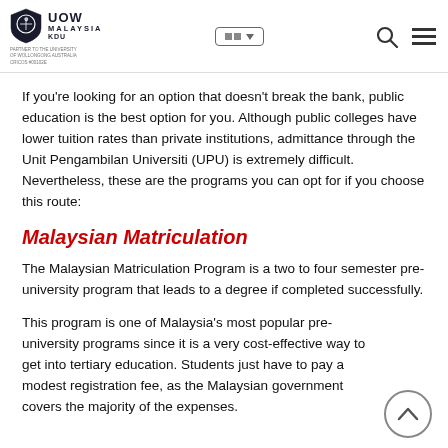UOW Malaysia KDU — navigation header
If you're looking for an option that doesn't break the bank, public education is the best option for you. Although public colleges have lower tuition rates than private institutions, admittance through the Unit Pengambilan Universiti (UPU) is extremely difficult. Nevertheless, these are the programs you can opt for if you choose this route:
Malaysian Matriculation
The Malaysian Matriculation Program is a two to four semester pre-university program that leads to a degree if completed successfully.
This program is one of Malaysia's most popular pre-university programs since it is a very cost-effective way to get into tertiary education. Students just have to pay a modest registration fee, as the Malaysian government covers the majority of the expenses.